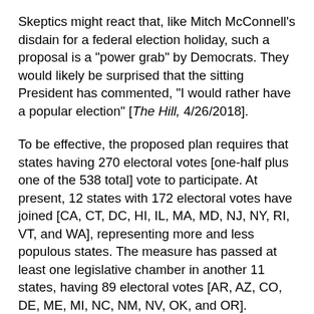Skeptics might react that, like Mitch McConnell's disdain for a federal election holiday, such a proposal is a "power grab" by Democrats. They would likely be surprised that the sitting President has commented, "I would rather have a popular election" [The Hill, 4/26/2018].
To be effective, the proposed plan requires that states having 270 electoral votes [one-half plus one of the 538 total] vote to participate. At present, 12 states with 172 electoral votes have joined [CA, CT, DC, HI, IL, MA, MD, NJ, NY, RI, VT, and WA], representing more and less populous states. The measure has passed at least one legislative chamber in another 11 states, having 89 electoral votes [AR, AZ, CO, DE, ME, MI, NC, NM, NV, OK, and OR].
Passage in Colorado [9] and New Mexico [5] may occur shortly, reducing the 98 needed to pass by 14